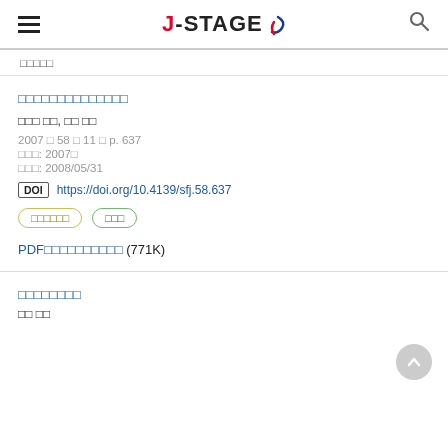J-STAGE
□□□□□
□□□□□□□□□□□□□□
□□□ □□, □□ □□
2007 □ 58 □ 11 □ p. 637
□□□: 2007□
□□□: 2008/05/31
DOI https://doi.org/10.4139/sfj.58.637
□□□□□□  □□□
PDF□□□□□□□□□□ (771K)
□□□□□□□□
□□ □□